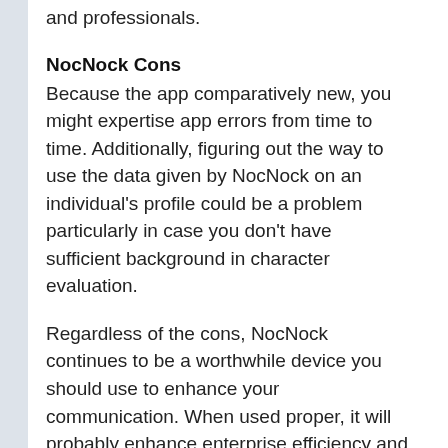and professionals.
NocNock Cons
Because the app comparatively new, you might expertise app errors from time to time. Additionally, figuring out the way to use the data given by NocNock on an individual's profile could be a problem particularly in case you don't have sufficient background in character evaluation.
Regardless of the cons, NocNock continues to be a worthwhile device you should use to enhance your communication. When used proper, it will probably enhance enterprise efficiency and even your private relationships. NocNock can assist construct a community of individuals with efficient communication